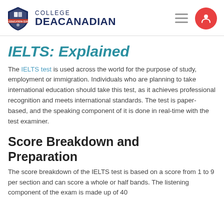College DEA Canadian
IELTS: Explained
The IELTS test is used across the world for the purpose of study, employment or immigration. Individuals who are planning to take international education should take this test, as it achieves professional recognition and meets international standards. The test is paper-based, and the speaking component of it is done in real-time with the test examiner.
Score Breakdown and Preparation
The score breakdown of the IELTS test is based on a score from 1 to 9 per section and can score a whole or half bands. The listening component of the exam is made up of 40